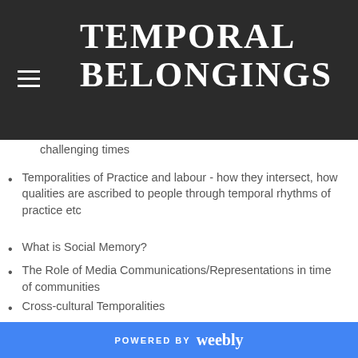TEMPORAL BELONGINGS
source of practice as methodology
How does experience and practice contribute to improvisation in challenging times
Temporalities of Practice and labour - how they intersect, how qualities are ascribed to people through temporal rhythms of practice etc
What is Social Memory?
The Role of Media Communications/Representations in time of communities
Cross-cultural Temporalities
Is there a Feminist Theory of Time?
Must/should or can we do away with hope
POWERED BY weebly